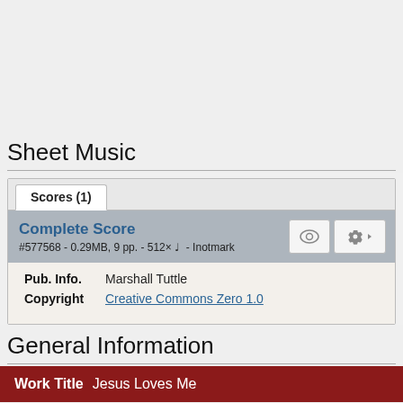Sheet Music
Scores (1)
Complete Score
#577568 - 0.29MB, 9 pp. - 512× ♩ - Inotmark
| Field | Value |
| --- | --- |
| Pub. Info. | Marshall Tuttle |
| Copyright | Creative Commons Zero 1.0 |
General Information
| Work Title | Jesus Loves Me |
| --- | --- |